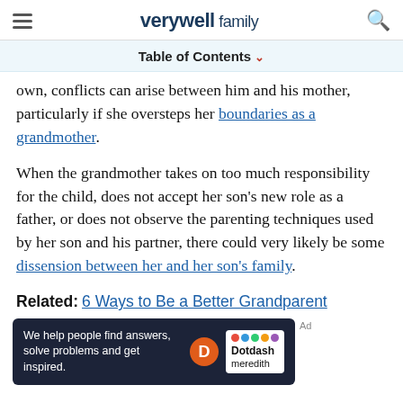verywell family
Table of Contents
own, conflicts can arise between him and his mother, particularly if she oversteps her boundaries as a grandmother.
When the grandmother takes on too much responsibility for the child, does not accept her son's new role as a father, or does not observe the parenting techniques used by her son and his partner, there could very likely be some dissension between her and her son's family.
Related: 6 Ways to Be a Better Grandparent
[Figure (other): Dotdash Meredith advertisement banner: 'We help people find answers, solve problems and get inspired.']